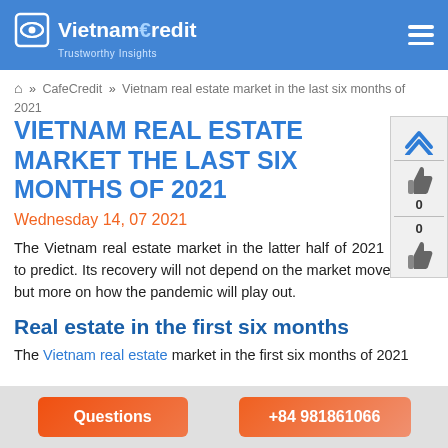VietnamCredit – Trustworthy Insights
Home » CafeCredit » Vietnam real estate market in the last six months of 2021
VIETNAM REAL ESTATE MARKET THE LAST SIX MONTHS OF 2021
Wednesday 14, 07 2021
The Vietnam real estate market in the latter half of 2021 is hard to predict. Its recovery will not depend on the market movements, but more on how the pandemic will play out.
Real estate in the first six months
The Vietnam real estate market in the first six months of 2021